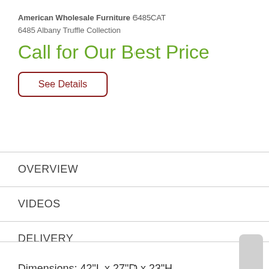American Wholesale Furniture 6485CAT
6485 Albany Truffle Collection
Call for Our Best Price
See Details
| OVERVIEW |
| VIDEOS |
| DELIVERY |
| WARRANTY |
Dimensions: 42"L x 27"D x 23"H